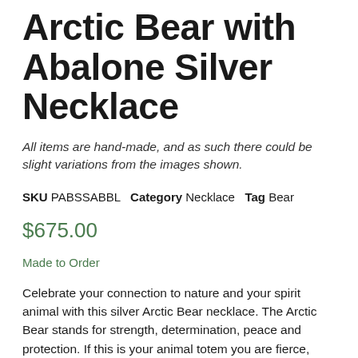Arctic Bear with Abalone Silver Necklace
All items are hand-made, and as such there could be slight variations from the images shown.
SKU PABSSABBL   Category Necklace   Tag Bear
$675.00
Made to Order
Celebrate your connection to nature and your spirit animal with this silver Arctic Bear necklace. The Arctic Bear stands for strength, determination, peace and protection. If this is your animal totem you are fierce, strong, adaptable and